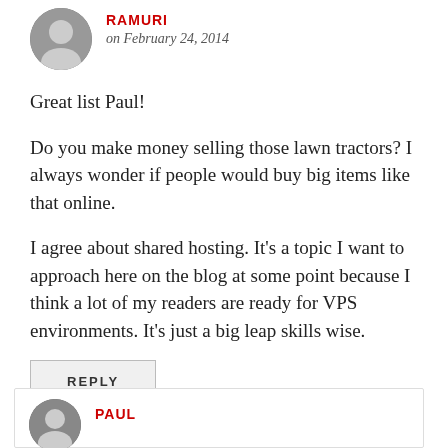RAMURI — on February 24, 2014
Great list Paul!
Do you make money selling those lawn tractors? I always wonder if people would buy big items like that online.
I agree about shared hosting. It's a topic I want to approach here on the blog at some point because I think a lot of my readers are ready for VPS environments. It's just a big leap skills wise.
REPLY
PAUL